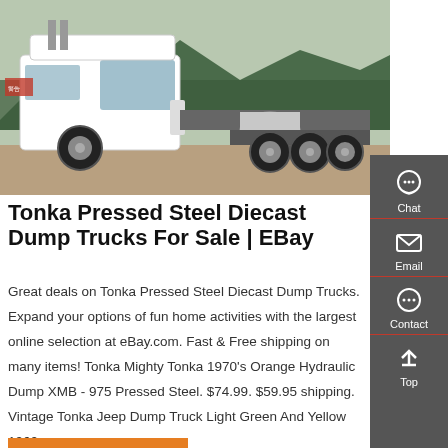[Figure (photo): A white semi-truck/tractor unit parked outdoors with trees and mountains visible in the background. The truck has multiple rear axles and a polished fuel tank.]
Tonka Pressed Steel Diecast Dump Trucks For Sale | EBay
Great deals on Tonka Pressed Steel Diecast Dump Trucks. Expand your options of fun home activities with the largest online selection at eBay.com. Fast & Free shipping on many items! Tonka Mighty Tonka 1970's Orange Hydraulic Dump XMB - 975 Pressed Steel. $74.99. $59.95 shipping. Vintage Tonka Jeep Dump Truck Light Green And Yellow 1960